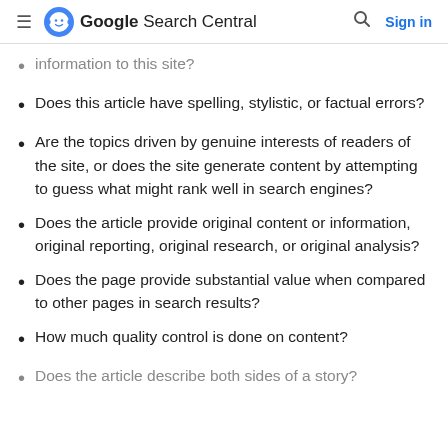Google Search Central  Sign in
information to this site?
Does this article have spelling, stylistic, or factual errors?
Are the topics driven by genuine interests of readers of the site, or does the site generate content by attempting to guess what might rank well in search engines?
Does the article provide original content or information, original reporting, original research, or original analysis?
Does the page provide substantial value when compared to other pages in search results?
How much quality control is done on content?
Does the article describe both sides of a story?